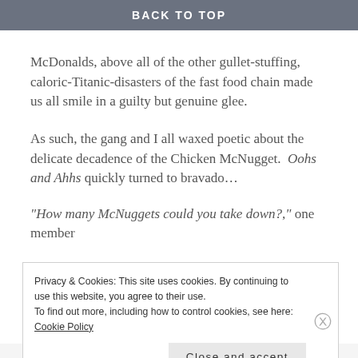BACK TO TOP
McDonalds, above all of the other gullet-stuffing, caloric-Titanic-disasters of the fast food chain made us all smile in a guilty but genuine glee.
As such, the gang and I all waxed poetic about the delicate decadence of the Chicken McNugget. Oohs and Ahhs quickly turned to bravado…
“How many McNuggets could you take down?,” one member
Privacy & Cookies: This site uses cookies. By continuing to use this website, you agree to their use.
To find out more, including how to control cookies, see here: Cookie Policy
Close and accept